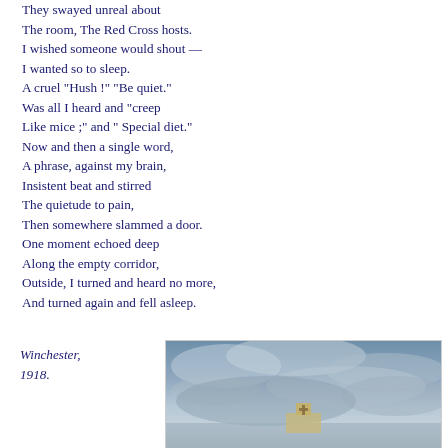They swayed unreal about
The room, The Red Cross hosts.
I wished someone would shout —
I wanted so to sleep.
A cruel "Hush !" "Be quiet."
Was all I heard and "creep
Like mice ;" and " Special diet."
Now and then a single word,
A phrase, against my brain,
Insistent beat and stirred
The quietude to pain,
Then somewhere slammed a door.
One moment echoed deep
Along the empty corridor,
Outside, I turned and heard no more,
And turned again and fell asleep.
Winchester,
1918.
[Figure (photo): A photograph showing a cloudy sky with what appears to be a building or structure with a cross visible at the bottom, taken outdoors.]